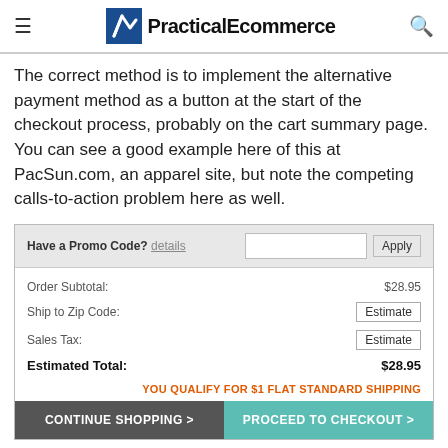PracticalEcommerce
The correct method is to implement the alternative payment method as a button at the start of the checkout process, probably on the cart summary page. You can see a good example here of this at PacSun.com, an apparel site, but note the competing calls-to-action problem here as well.
[Figure (screenshot): PacSun.com cart summary screenshot showing promo code field, order subtotal $28.95, ship to zip code estimate, sales tax estimate, estimated total $28.95, flat shipping promotion, continue shopping and proceed to checkout buttons.]